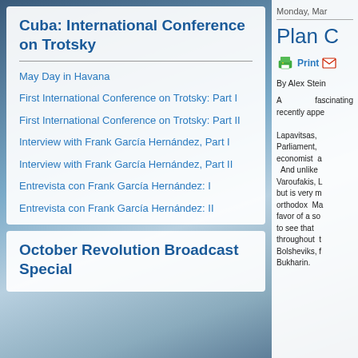Cuba: International Conference on Trotsky
May Day in Havana
First International Conference on Trotsky: Part I
First International Conference on Trotsky: Part II
Interview with Frank García Hernández, Part I
Interview with Frank García Hernández, Part II
Entrevista con Frank García Hernández: I
Entrevista con Frank García Hernández: II
October Revolution Broadcast Special
Monday, Mar
Plan C
By Alex Stein
A fascinating recently appe
Lapavitsas, Parliament, economist a  And unlike Varoufakis, L but is very m orthodox Ma favor of a so to see that throughout t Bolsheviks, f Bukharin.